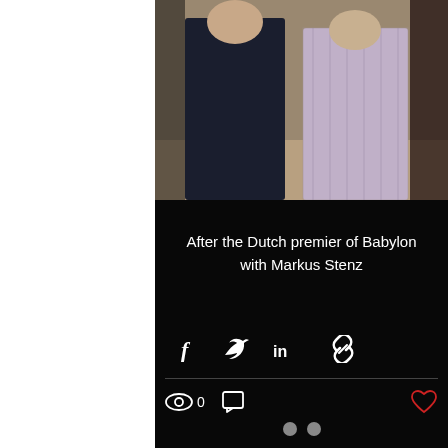[Figure (photo): Two people standing together, one in dark suit/vest, one in plaid shirt, at what appears to be a concert hall or musical venue]
After the Dutch premier of Babylon with Markus Stenz
Share via Facebook, Twitter, LinkedIn, and link icons
0 views, 0 comments, heart/like button